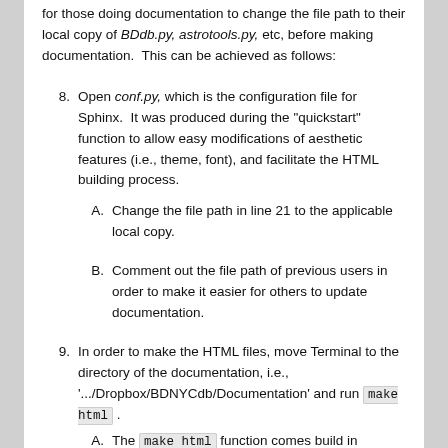for those doing documentation to change the file path to their local copy of BDdb.py, astrotools.py, etc, before making documentation.  This can be achieved as follows:
8. Open conf.py, which is the configuration file for Sphinx.  It was produced during the "quickstart" function to allow easy modifications of aesthetic features (i.e., theme, font), and facilitate the HTML building process.
  A. Change the file path in line 21 to the applicable local copy.
  B. Comment out the file path of previous users in order to make it easier for others to update documentation.
9. In order to make the HTML files, move Terminal to the directory of the documentation, i.e., '.../Dropbox/BDNYCdb/Documentation' and run make html.
  A. The make html function comes build in